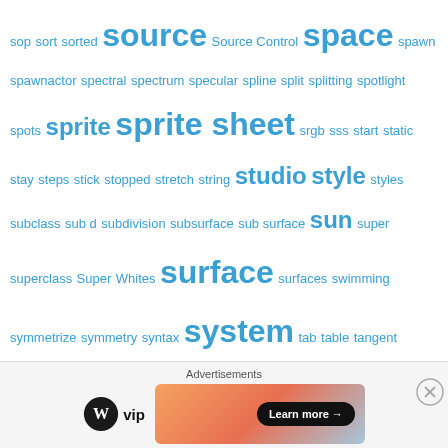sop sort sorted source Source Control space spawn spawnactor spectral spectrum specular spline split splitting spotlight spots sprite sprite sheet srgb sss start static stay steps stick stopped stretch string studio style styles subclass sub d subdivision subsurface sub surface sun super superclass Super Whites surface surfaces swimming symmetrize symmetry syntax system tab table tangent tangent space technical art template terrain text texture texture atlas textured textures Texturing theme thinkbox threads thumbnails time timecode timelapse tip tips title tool toolset toon topographical topography topology trace tracing tracking transform transform vector transitions translucency Transparency tree tree view triangles trigger triplanar tuple turbidity tutorial two twosidedsign two sided sign tyFlow ue UE4 ui unc unclamped under underwater unfold units unreal unreal editor Unreal Engine unselectable unwrap unwrapping usf ush UV UVs uv sets v-ray value varnish vector blur
[Figure (other): Advertisement banner with WordPress VIP logo and a colorful Learn more button]